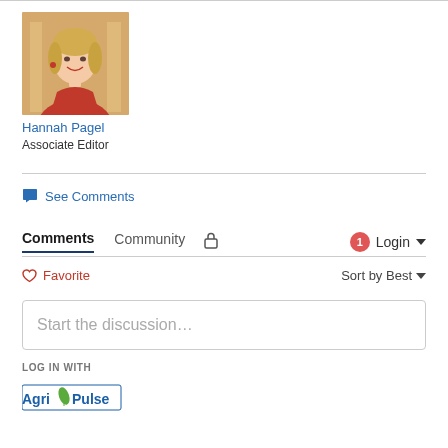[Figure (photo): Profile photo of Hannah Pagel, a smiling blonde woman wearing a red dress, photographed in front of a building with columns]
Hannah Pagel
Associate Editor
See Comments
Comments   Community   🔒   1   Login ▼
♡ Favorite   Sort by Best ▼
Start the discussion...
LOG IN WITH
[Figure (logo): Agri Pulse logo — green and blue text with leaf icon]